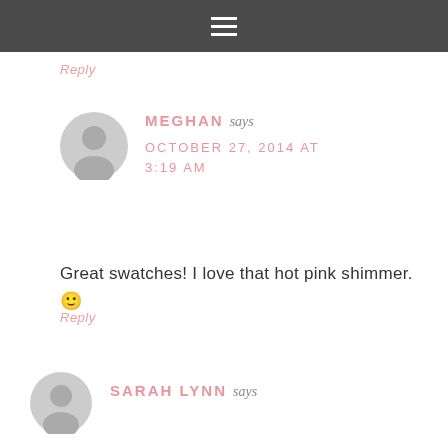≡
Reply
MEGHAN says OCTOBER 27, 2014 AT 3:19 AM
Great swatches! I love that hot pink shimmer. 🙂
Reply
SARAH LYNN says